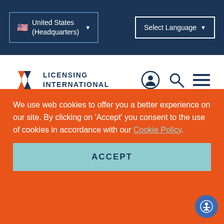United States (Headquarters) | Select Language
[Figure (logo): Licensing International logo with X chevron mark and text LICENSING INTERNATIONAL]
licensing agreement with Barstool.
Related Articles
We use web cookies to offer you a better experience on our site. By clicking on 'Accept' you consent to the use of cookies in accordance with our Cookie Policy.
ACCEPT